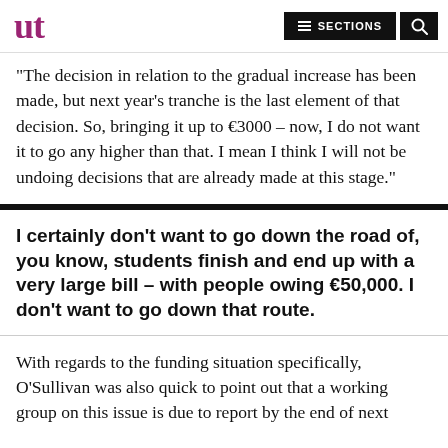ut | SECTIONS | [search]
“The decision in relation to the gradual increase has been made, but next year’s tranche is the last element of that decision. So, bringing it up to €3000 – now, I do not want it to go any higher than that. I mean I think I will not be undoing decisions that are already made at this stage.”
I certainly don’t want to go down the road of, you know, students finish and end up with a very large bill – with people owing €50,000. I don’t want to go down that route.
With regards to the funding situation specifically, O’Sullivan was also quick to point out that a working group on this issue is due to report by the end of next